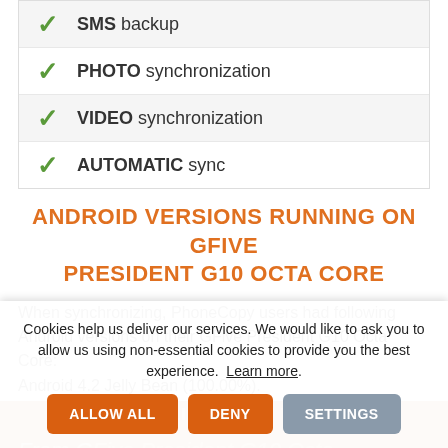SMS backup
PHOTO synchronization
VIDEO synchronization
AUTOMATIC sync
ANDROID VERSIONS RUNNING ON GFIVE PRESIDENT G10 OCTA CORE
When synchronizing, PhoneCopy users had following Android versions on their GFive President G10 Octa Core:
Android 4.2 Jelly Bean (100.00%).
TEXT GUIDELINE - HOW TO BACKUP
From G... Core
Cookies help us deliver our services. We would like to ask you to allow us using non-essential cookies to provide you the best experience.  Learn more.